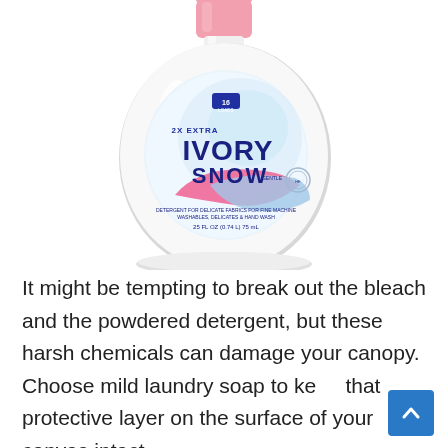[Figure (photo): A white plastic bottle of Ivory Snow 2X Ultra liquid laundry detergent with a pink cap. The label shows 'Ivory Snow' in large dark blue letters on a white oval bottle. The bottle indicates 16 loads and shows the volume as 25 fl oz (0.74 L / 75 mL). There is a pink and blue swoosh design on the label.]
It might be tempting to break out the bleach and the powdered detergent, but these harsh chemicals can damage your canopy. Choose mild laundry soap to keep that protective layer on the surface of your canvas intact.